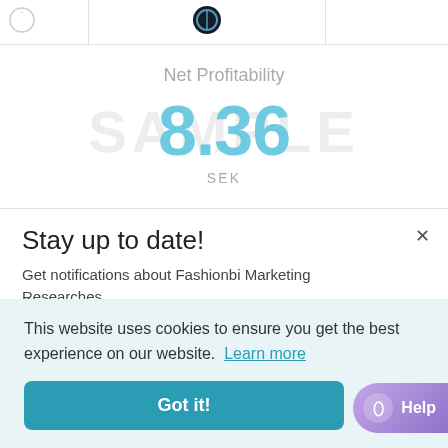[Figure (screenshot): Top navigation table row with logo/icon and truncated text columns]
Net Profitability
8.36
SEK
Stay up to date!
Get notifications about Fashionbi Marketing Researches
This website uses cookies to ensure you get the best experience on our website. Learn more
Enter your email
Got it!